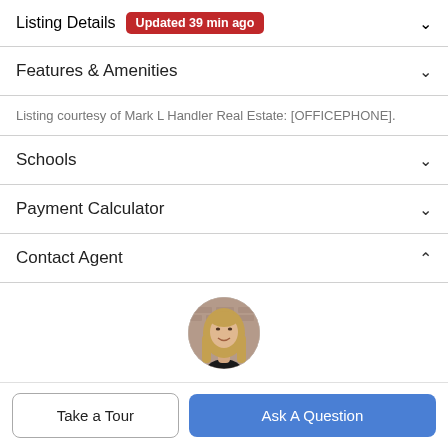Listing Details Updated 39 min ago
Features & Amenities
Listing courtesy of Mark L Handler Real Estate: [OFFICEPHONE].
Schools
Payment Calculator
Contact Agent
[Figure (photo): Circular profile photo of a female real estate agent with long blonde hair, smiling, against a brick wall background.]
Take a Tour
Ask A Question